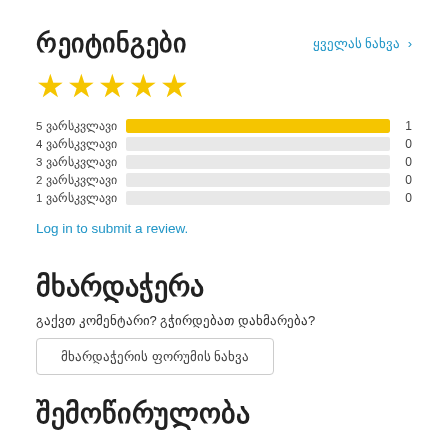რეიტინგები
ყველას ნახვა ›
[Figure (other): 5 yellow stars rating display]
[Figure (bar-chart): Star rating distribution]
Log in to submit a review.
მხარდაჭერა
გაქვთ კომენტარი? გჭირდებათ დახმარება?
მხარდაჭერის ფორუმის ნახვა
შემოწირულობა